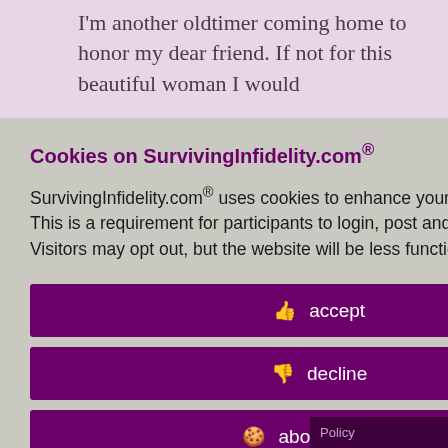I'm another oldtimer coming home to honor my dear friend. If not for this beautiful woman I would
at DS and ved my rvive infidelity. ncouragement ove. One o me, *Scout,
o her to remind ourageous. Her through the friendship has years.
ays be in my
Cookies on SurvivingInfidelity.com®
SurvivingInfidelity.com® uses cookies to enhance your visit to our website. This is a requirement for participants to login, post and use other features. Visitors may opt out, but the website will be less functional for you.
accept
decline
about cookies
Policy